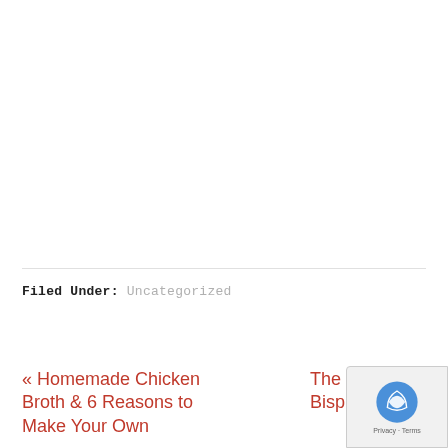Filed Under: Uncategorized
« Homemade Chicken Broth & 6 Reasons to Make Your Own
The Dang… Bisphenol-A (…